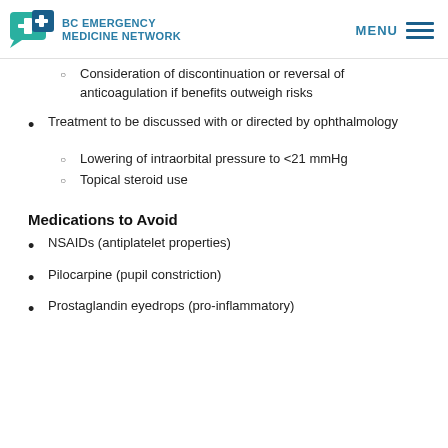BC EMERGENCY MEDICINE NETWORK
Consideration of discontinuation or reversal of anticoagulation if benefits outweigh risks
Treatment to be discussed with or directed by ophthalmology
Lowering of intraorbital pressure to <21 mmHg
Topical steroid use
Medications to Avoid
NSAIDs (antiplatelet properties)
Pilocarpine (pupil constriction)
Prostaglandin eyedrops (pro-inflammatory)